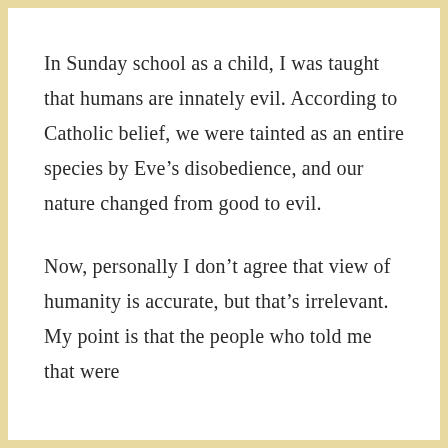In Sunday school as a child, I was taught that humans are innately evil. According to Catholic belief, we were tainted as an entire species by Eve’s disobedience, and our nature changed from good to evil.
Now, personally I don’t agree that view of humanity is accurate, but that’s irrelevant. My point is that the people who told me that were